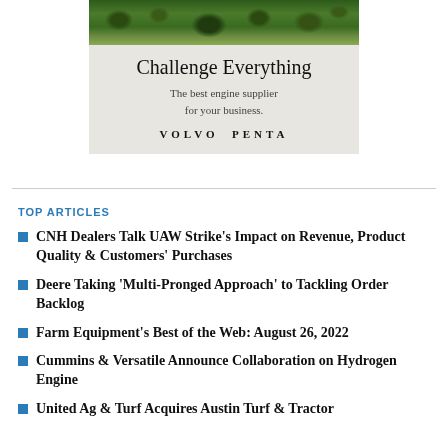[Figure (illustration): Volvo Penta advertisement with foliage background image at top, 'Challenge Everything' headline, 'The best engine supplier for your business.' subtext, and 'VOLVO PENTA' brand name on light gray background]
TOP ARTICLES
CNH Dealers Talk UAW Strike's Impact on Revenue, Product Quality & Customers' Purchases
Deere Taking 'Multi-Pronged Approach' to Tackling Order Backlog
Farm Equipment's Best of the Web: August 26, 2022
Cummins & Versatile Announce Collaboration on Hydrogen Engine
United Ag & Turf Acquires Austin Turf & Tractor